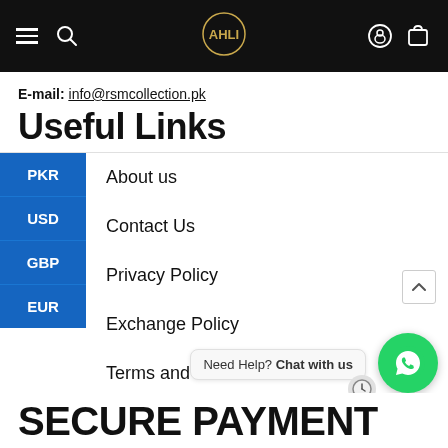Navigation bar with menu, search, logo, account, and cart icons
E-mail: info@rsmcollection.pk
Useful Links
PKR
USD
GBP
EUR
About us
Contact Us
Privacy Policy
Exchange Policy
Terms and Conditions
Need Help? Chat with us
SECURE PAYMENT